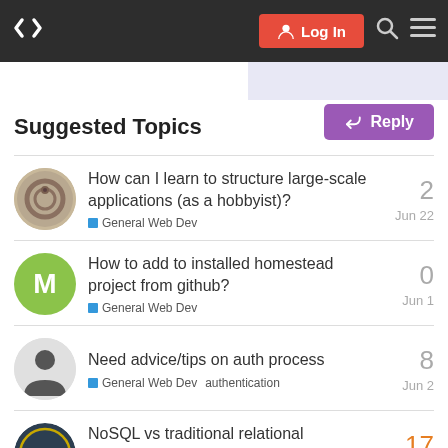Log In (navigation bar with logo, login button, search, menu)
Suggested Topics
How can I learn to structure large-scale applications (as a hobbyist)? | General Web Dev | Jun 22 | 2 replies
How to add to installed homestead project from github? | General Web Dev | Jun 1 | 0 replies
Need advice/tips on auth process | General Web Dev | authentication | Jun 2 | 8 replies
NoSQL vs traditional relational databases | General Web Dev | May 30 | 17 replies